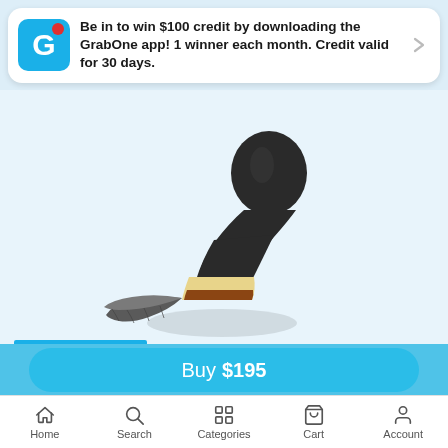Be in to win $100 credit by downloading the GrabOne app! 1 winner each month. Credit valid for 30 days.
[Figure (photo): A car cleaning brush with a black ergonomic handle and a wide flat brush head with mixed gray, tan, and brown bristles, shown on a white background.]
FREE DELIVERY
Car Cleaning Brush
Buy $195
Home
Search
Categories
Cart
Account